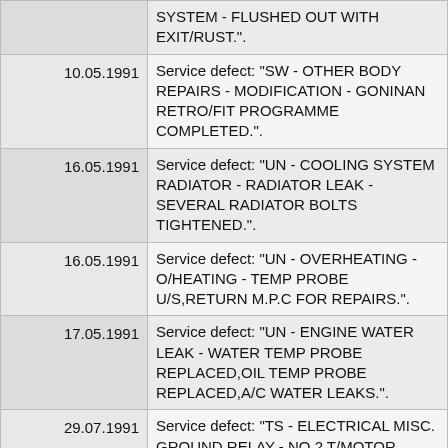| Date | Description |
| --- | --- |
|  | SYSTEM - FLUSHED OUT WITH EXIT/RUST.". |
| 10.05.1991 | Service defect: "SW - OTHER BODY REPAIRS - MODIFICATION - GONINAN RETRO/FIT PROGRAMME COMPLETED.". |
| 16.05.1991 | Service defect: "UN - COOLING SYSTEM RADIATOR - RADIATOR LEAK - SEVERAL RADIATOR BOLTS TIGHTENED.". |
| 16.05.1991 | Service defect: "UN - OVERHEATING - O/HEATING - TEMP PROBE U/S,RETURN M.P.C FOR REPAIRS.". |
| 17.05.1991 | Service defect: "UN - ENGINE WATER LEAK - WATER TEMP PROBE REPLACED,OIL TEMP PROBE REPLACED,A/C WATER LEAKS.". |
| 29.07.1991 | Service defect: "TS - ELECTRICAL MISC. GROUND RELAY - NO 2 T/MOTOR BRUSHES REPLACED, A/C |